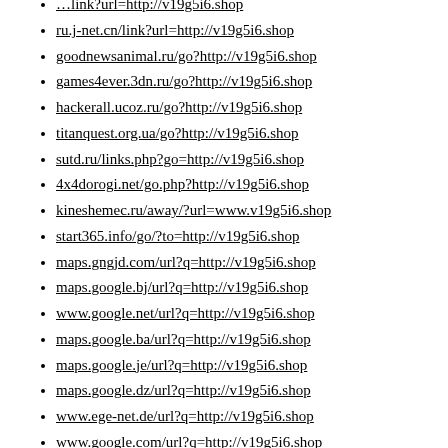(partial, top) ...link?url=http://v19g5i6.shop
ru.j-net.cn/link?url=http://v19g5i6.shop
goodnewsanimal.ru/go?http://v19g5i6.shop
games4ever.3dn.ru/go?http://v19g5i6.shop
hackerall.ucoz.ru/go?http://v19g5i6.shop
titanquest.org.ua/go?http://v19g5i6.shop
sutd.ru/links.php?go=http://v19g5i6.shop
4x4dorogi.net/go.php?http://v19g5i6.shop
kineshemec.ru/away/?url=www.v19g5i6.shop
start365.info/go/?to=http://v19g5i6.shop
maps.gngjd.com/url?q=http://v19g5i6.shop
maps.google.bj/url?q=http://v19g5i6.shop
www.google.net/url?q=http://v19g5i6.shop
maps.google.ba/url?q=http://v19g5i6.shop
maps.google.je/url?q=http://v19g5i6.shop
maps.google.dz/url?q=http://v19g5i6.shop
www.ege-net.de/url?q=http://v19g5i6.shop
www.google.com/url?q=http://v19g5i6.shop
maps.google.tg/url?q=http://v19g5i6.shop
(partial, bottom) ...url?q=http://v19g5i6.s...